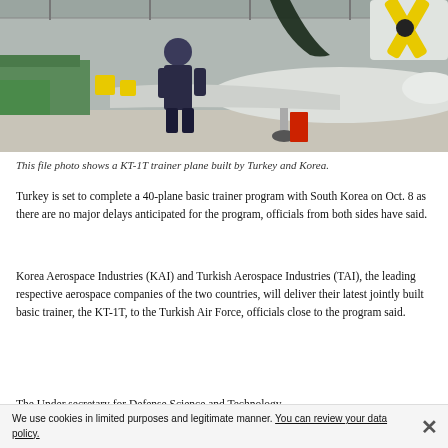[Figure (photo): A person standing in front of a KT-1T trainer plane inside a hangar. The aircraft has a yellow propeller and nose section. The plane is white with a red tag visible on the landing gear. Industrial background with green workbenches.]
This file photo shows a KT-1T trainer plane built by Turkey and Korea.
Turkey is set to complete a 40-plane basic trainer program with South Korea on Oct. 8 as there are no major delays anticipated for the program, officials from both sides have said.
Korea Aerospace Industries (KAI) and Turkish Aerospace Industries (TAI), the leading respective aerospace companies of the two countries, will deliver their latest jointly built basic trainer, the KT-1T, to the Turkish Air Force, officials close to the program said.
The Under secretary for Defense Science and Technology...
We use cookies in limited purposes and legitimate manner. You can review your data policy.